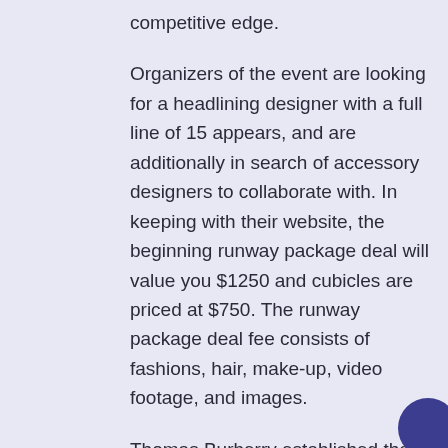competitive edge.
Organizers of the event are looking for a headlining designer with a full line of 15 appears, and are additionally in search of accessory designers to collaborate with. In keeping with their website, the beginning runway package deal will value you $1250 and cubicles are priced at $750. The runway package deal fee consists of fashions, hair, make-up, video footage, and images.
Thomas Burberry established the enduring British brand Burberry in 1856; The brand has proved its mettle many instances over and is thought for its unique tartan pattern